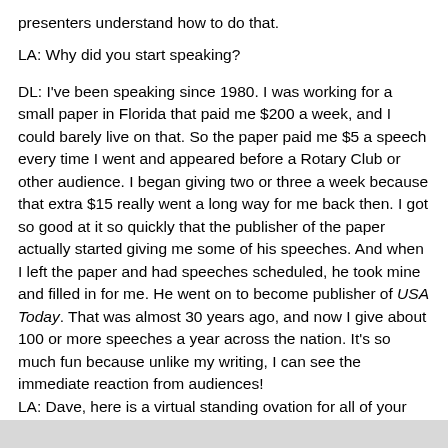presenters understand how to do that.
LA: Why did you start speaking?
DL: I've been speaking since 1980. I was working for a small paper in Florida that paid me $200 a week, and I could barely live on that. So the paper paid me $5 a speech every time I went and appeared before a Rotary Club or other audience. I began giving two or three a week because that extra $15 really went a long way for me back then. I got so good at it so quickly that the publisher of the paper actually started giving me some of his speeches. And when I left the paper and had speeches scheduled, he took mine and filled in for me. He went on to become publisher of USA Today. That was almost 30 years ago, and now I give about 100 or more speeches a year across the nation. It's so much fun because unlike my writing, I can see the immediate reaction from audiences!
LA: Dave, here is a virtual standing ovation for all of your terrific advice. Thanks so much!